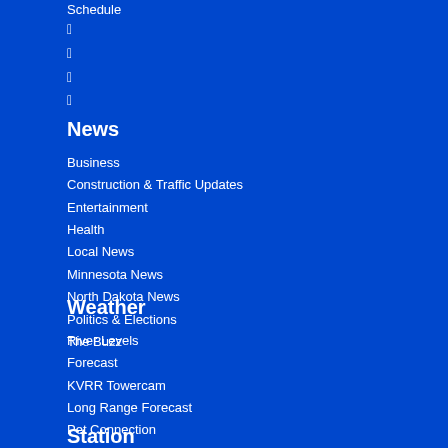Schedule
[Figure (illustration): Social media and app icons: Facebook, Twitter, Apple, Android]
News
Business
Construction & Traffic Updates
Entertainment
Health
Local News
Minnesota News
North Dakota News
Politics & Elections
The Buzz
Weather
River Levels
Forecast
KVRR Towercam
Long Range Forecast
Pet Connection
River Levels
Severe Weather Alerts
Cancellations
Weather Notes
Station